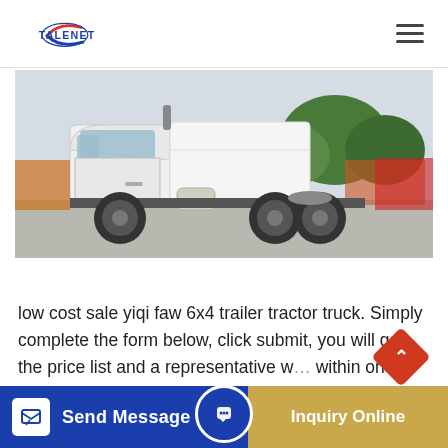TALENET
[Figure (photo): Side view of a white Yiqi FAW 6x4 trailer tractor truck parked in a yard, with trees visible in the background and other trucks/vehicles partially visible on the sides.]
low cost sale yiqi faw 6x4 trailer tractor truck. Simply complete the form below, click submit, you will get the price list and a representative w... within one business day. Please also feel
Send Message | Inquiry Online